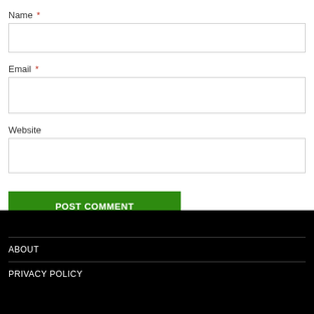Name *
Email *
Website
POST COMMENT
ABOUT
PRIVACY POLICY